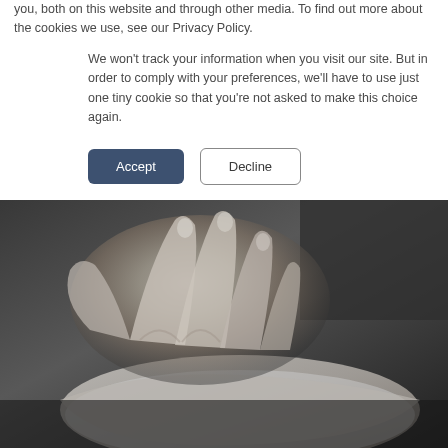you, both on this website and through other media. To find out more about the cookies we use, see our Privacy Policy.
We won't track your information when you visit our site. But in order to comply with your preferences, we'll have to use just one tiny cookie so that you're not asked to make this choice again.
[Figure (photo): Close-up photograph of a human hand using a computer mouse, dark and muted tones]